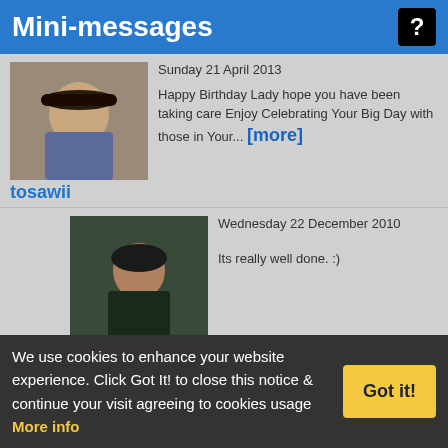Mini-messages
Sunday 21 April 2013
Happy Birthday Lady hope you have been taking care Enjoy Celebrating Your Big Day with those in Your... [more]
tosawii
Wednesday 22 December 2010
Its really well done. :)
kidhybrid
Thursday 16 December 2010
You should check out "Smoke Signals".
kidhybrid
Monday 08 November 2010
hello pahkeeta... i think thats great doing a docu... have u seen
We use cookies to enhance your website experience. Click Got It! to close this notice & continue your visit agreeing to cookies usage More info